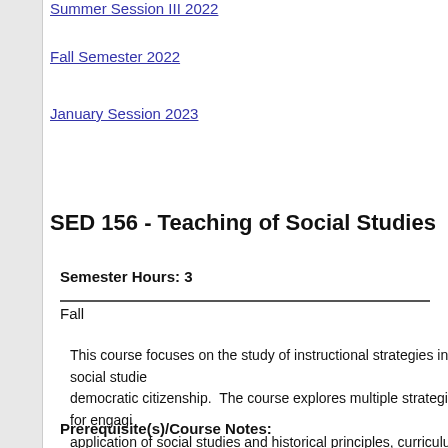Summer Session III 2022
Fall Semester 2022
January Session 2023
SED 156 - Teaching of Social Studies
Semester Hours: 3
Fall
This course focuses on the study of instructional strategies in social studies and democratic citizenship. The course explores multiple strategies for engaging application of social studies and historical principles, curriculum, materials, organization, learning environments, and the assessment of student learning, reading, writing, and communication skills through the study of history and
Prerequisite(s)/Course Notes: